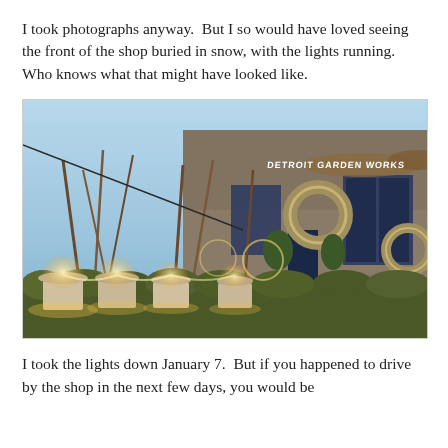I took photographs anyway.  But I so would have loved seeing the front of the shop buried in snow, with the lights running.  Who knows what that might have looked like.
[Figure (photo): Exterior photo of Detroit Garden Works shop at dusk, decorated with holiday lights, lit planters with tall grasses and small shrubs, large wreaths on the facade, and Christmas lights glowing warmly against the evening sky.]
I took the lights down January 7.  But if you happened to drive by the shop in the next few days, you would be...